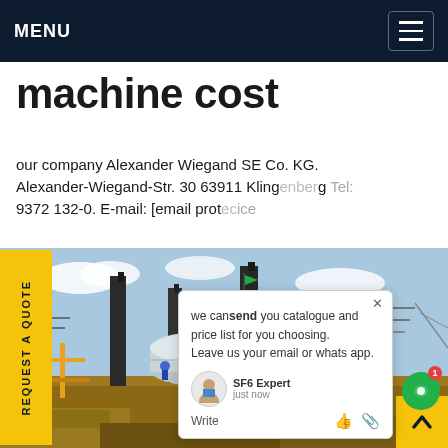MENU
machine cost
our company Alexander Wiegand SE Co. KG. Alexander-Wiegand-Str. 30 63911 Klingenberg Tel: 9372 132-0. E-mail: [email protected] ice
[Figure (photo): Industrial electrical substation construction site with workers in blue hard hats, large cylindrical tanks, tall metal structures, and construction equipment under a blue sky.]
we can send you catalogue and price list for you choosing. Leave us your email or whatsapp. SF6 Expert just now Write